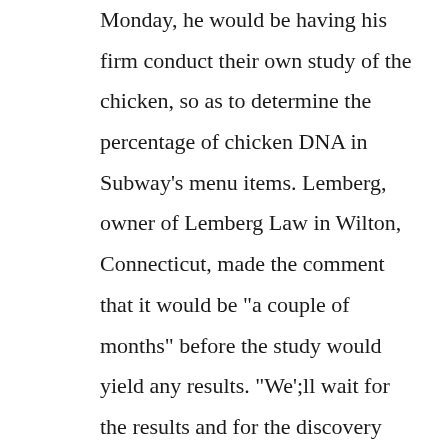Monday, he would be having his firm conduct their own study of the chicken, so as to determine the percentage of chicken DNA in Subway's menu items. Lemberg, owner of Lemberg Law in Wilton, Connecticut, made the comment that it would be "a couple of months" before the study would yield any results. "We';ll wait for the results and for the discovery process to shed light on whether this chicken is or is not completely chicken," Lemberg was quoted on the matter.

At this point, it is unclear how many individuals are eligible to join the lawsuit, according to the lawsuit,